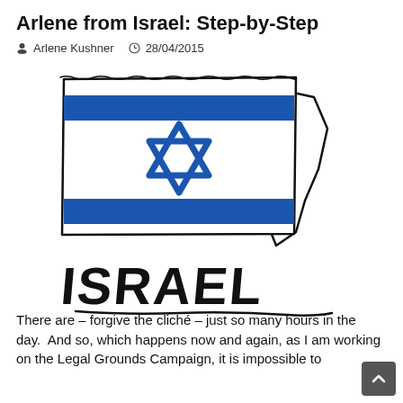Arlene from Israel: Step-by-Step
Arlene Kushner  28/04/2015
[Figure (illustration): Hand-drawn illustration of the Israeli flag overlaid on a map outline of Israel, with the word ISRAEL written in bold graffiti-style lettering below.]
There are – forgive the cliché – just so many hours in the day.  And so, which happens now and again, as I am working on the Legal Grounds Campaign, it is impossible to